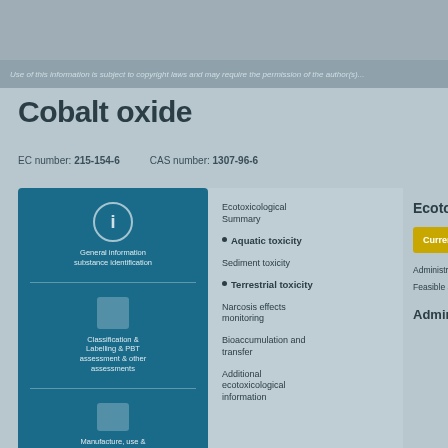Use of this information is subject to copyright laws and may require the permission...
Cobalt oxide
EC number: 215-154-6   CAS number: 1307-96-6
[Figure (infographic): Blue left panel with icons: info icon with text, chemical structure icon with text about classifications, and a regulatory icon with text about manufacture, use & exposure]
Ecotoxicological Summary
Aquatic toxicity
Sediment toxicity
Terrestrial toxicity
Narcosis effects monitoring
Bioaccumulation and transfer
Additional ecotoxicological information
Ecotoxicolo...
Currently consid...
Administration d...
Feasible assess...
Administrati...